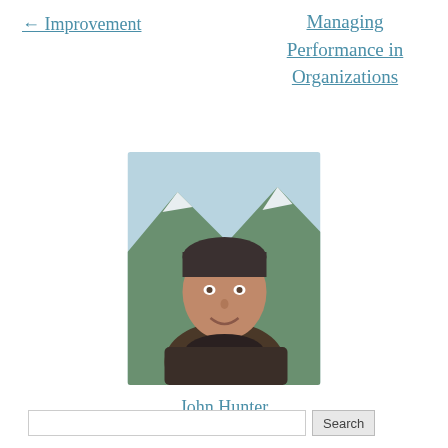← Improvement
Managing Performance in Organizations
[Figure (photo): Portrait photo of John Hunter, a man with dark hair, smiling, with a mountain and forest background]
John Hunter
Search